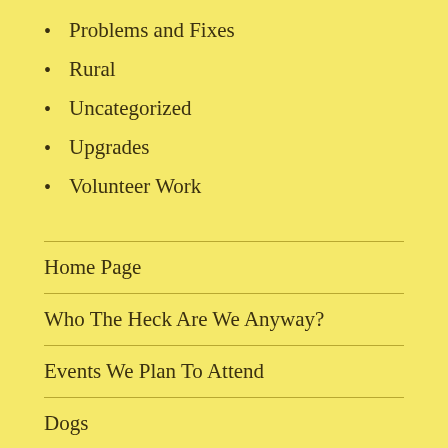Problems and Fixes
Rural
Uncategorized
Upgrades
Volunteer Work
Home Page
Who The Heck Are We Anyway?
Events We Plan To Attend
Dogs
[Figure (other): Row of four circular icon buttons: WordPress logo, and three eye/preview icons]